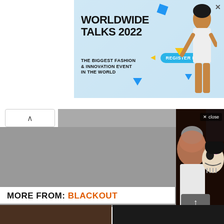[Figure (photo): Worldwide Talks 2022 advertisement banner - fashion event with model, blue background, 'REGISTER NOW' button, geometric shapes]
[Figure (photo): Two people posing for a selfie: a man with a beard and a woman with Day of the Dead skull face paint makeup]
Tony Khan Why Thunder Rosa & CM Punk Don't G... Equal Promo Time
MORE FROM: BLACKOUT